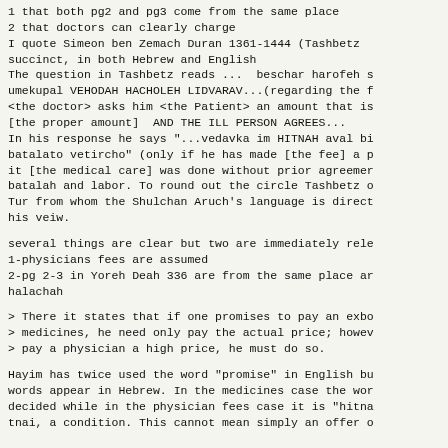1 that both pg2 and pg3 come from the same place
2 that doctors can clearly charge
I quote Simeon ben Zemach Duran 1361-1444 (Tashbetz succinct, in both Hebrew and English
The question in Tashbetz reads ...  beschar harofeh s umekupal VEHODAH HACHOLEH LIDVARAV...(regarding the f <the doctor> asks him <the Patient> an amount that is [the proper amount]  AND THE ILL PERSON AGREES...
In his response he says "...vedavka im HITNAH aval bi batalato vetircho" (only if he has made [the fee] a p it [the medical care] was done without prior agreemer batalah and labor. To round out the circle Tashbetz o Tur from whom the Shulchan Aruch's language is direct his veiw.
several things are clear but two are immediately rele
1-physicians fees are assumed
2-pg 2-3 in Yoreh Deah 336 are from the same place ar halachah
> There it states that if one promises to pay an exbo > medicines, he need only pay the actual price; howev > pay a physician a high price, he must do so.
Hayim has twice used the word "promise" in English bu words appear in Hebrew. In the medicines case the wor decided while in the physician fees case it is "hitna tnai, a condition. This cannot mean simply an offer o